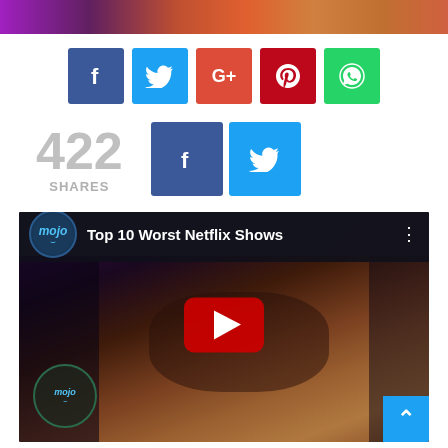[Figure (photo): Partial top banner image with colorful hair/portrait]
[Figure (infographic): Social share buttons: Facebook (blue), Twitter (light blue), Google+ (red), Pinterest (dark red), WhatsApp (green)]
422 SHARES
[Figure (infographic): Small share count row with 422 SHARES and Facebook/Twitter buttons]
[Figure (screenshot): YouTube video thumbnail for 'Top 10 Worst Netflix Shows' by WatchMojo, showing a woman's face with YouTube play button overlay and WatchMojo logo badge]